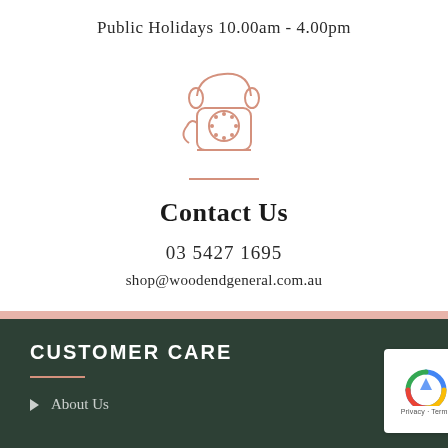Public Holidays 10.00am - 4.00pm
[Figure (illustration): Line drawing of a vintage rotary telephone in salmon/rose pink color]
Contact Us
03 5427 1695
shop@woodendgeneral.com.au
CUSTOMER CARE
About Us